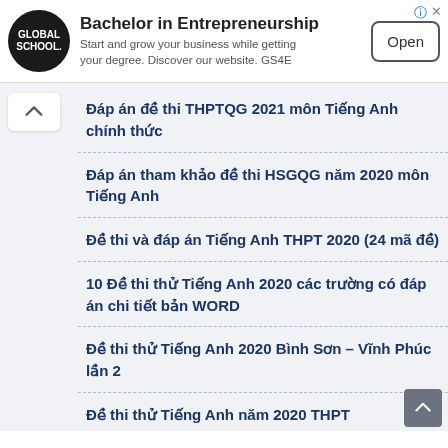[Figure (other): Advertisement banner for Global School Bachelor in Entrepreneurship with Open button]
Đáp án đề thi THPTQG 2021 môn Tiếng Anh chính thức
Đáp án tham khảo đề thi HSGQG năm 2020 môn Tiếng Anh
Đề thi và đáp án Tiếng Anh THPT 2020 (24 mã đề)
10 Đề thi thử Tiếng Anh 2020 các trường có đáp án chi tiết bản WORD
Đề thi thử Tiếng Anh 2020 Bình Sơn – Vĩnh Phúc lần 2
Đề thi thử Tiếng Anh năm 2020 THPT